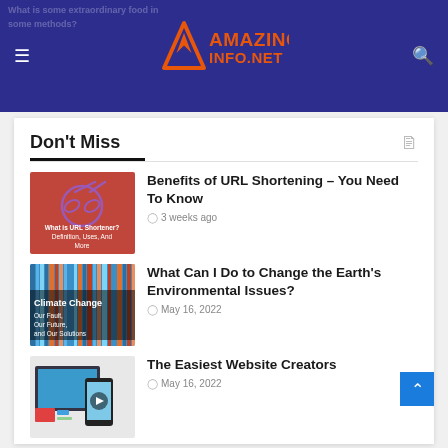Amazing Info Net - website header with logo, hamburger menu, and search icon
Don't Miss
[Figure (illustration): Red thumbnail image showing scissors and chain link with text 'What is URL Shortener? Definition, Uses, And More']
Benefits of URL Shortening – You Need To Know
3 weeks ago
[Figure (illustration): Climate Change thumbnail with colorful vertical stripes and text 'Climate Change Our Fault, Our Future, and Our Solutions']
What Can I Do to Change the Earth's Environmental Issues?
May 16, 2022
[Figure (screenshot): Website creators thumbnail showing devices and interface mockups with a play button]
The Easiest Website Creators
May 16, 2022
[Figure (photo): Car mechanic thumbnail — partial view]
How to Tell If a Mechanic is